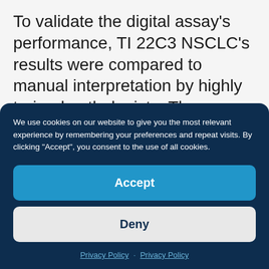To validate the digital assay's performance, TI 22C3 NSCLC's results were compared to manual interpretation by highly trained pathologists. The comparisons indicate that TI 22C3 NSCLC eliminated the intra- and inter-pathologist variability of
We use cookies on our website to give you the most relevant experience by remembering your preferences and repeat visits. By clicking "Accept", you consent to the use of all cookies.
Accept
Deny
Privacy Policy · Privacy Policy